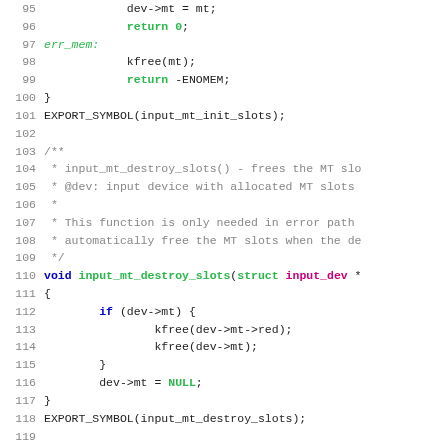Source code listing lines 95-121, C kernel code showing input_mt_init_slots and input_mt_destroy_slots functions